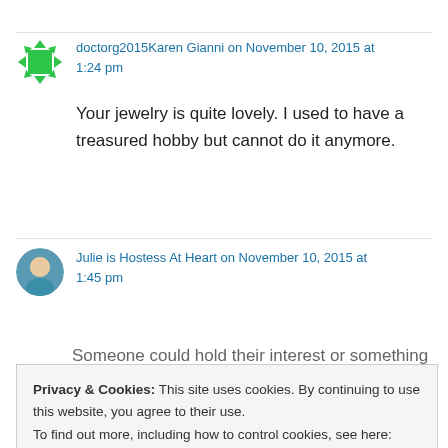doctorg2015Karen Gianni on November 10, 2015 at 1:24 pm
Your jewelry is quite lovely. I used to have a treasured hobby but cannot do it anymore.
Julie is Hostess At Heart on November 10, 2015 at 1:45 pm
Privacy & Cookies: This site uses cookies. By continuing to use this website, you agree to their use. To find out more, including how to control cookies, see here: Cookie Policy
Close and accept
Liz - Good Things on November 10, 2015 at 2:38 pm